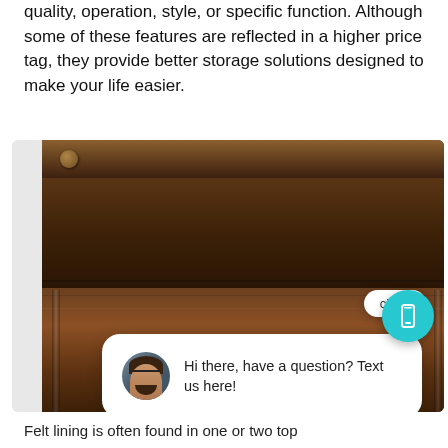quality, operation, style, or specific function. Although some of these features are reflected in a higher price tag, they provide better storage solutions designed to make your life easier.
[Figure (photo): Photo of an open wooden dresser drawer, dark walnut finish, with a chat bubble overlay showing a man's avatar and the text 'Hi there, have a question? Text us here!' along with a 'close' button and a teal phone icon button.]
Felt-Lined Drawers
Felt lining is often found in one or two top